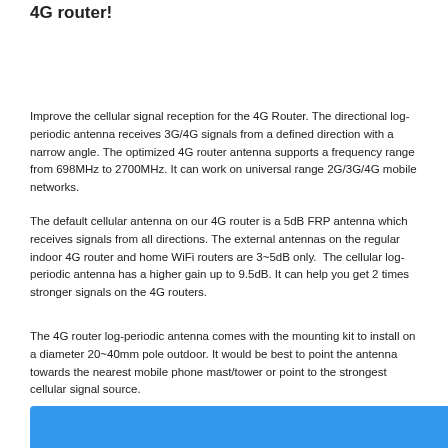4G router!
Improve the cellular signal reception for the 4G Router. The directional log-periodic antenna receives 3G/4G signals from a defined direction with a narrow angle. The optimized 4G router antenna supports a frequency range from 698MHz to 2700MHz. It can work on universal range 2G/3G/4G mobile networks.
The default cellular antenna on our 4G router is a 5dB FRP antenna which receives signals from all directions. The external antennas on the regular indoor 4G router and home WiFi routers are 3~5dB only.  The cellular log-periodic antenna has a higher gain up to 9.5dB. It can help you get 2 times stronger signals on the 4G routers.
The 4G router log-periodic antenna comes with the mounting kit to install on a diameter 20~40mm pole outdoor. It would be best to point the antenna towards the nearest mobile phone mast/tower or point to the strongest cellular signal source.
[Figure (other): Blue banner/bar at the bottom of the page]